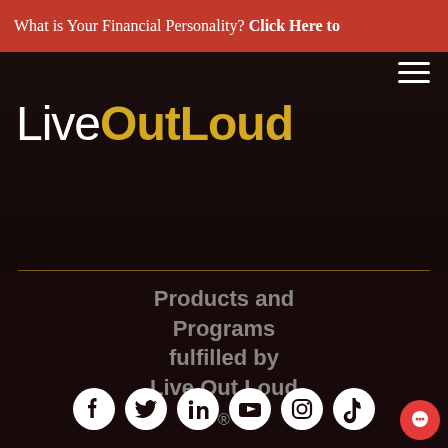What is Your Financial Personality? Click Here to
[Figure (logo): LiveOutLoud logo in white and gold on dark background with hamburger menu icon]
Products and Programs fulfilled by Live Out Loud ®
[Figure (infographic): Row of 6 social media icons: Facebook, Twitter, LinkedIn, YouTube, Instagram, TikTok]